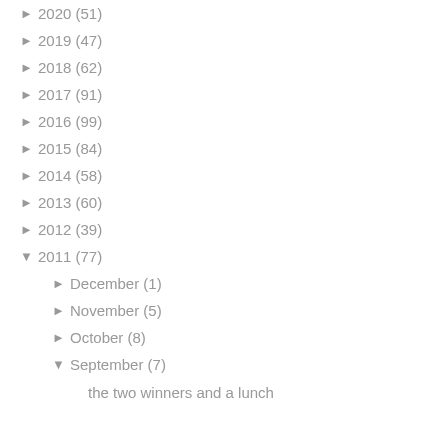► 2020 (51)
► 2019 (47)
► 2018 (62)
► 2017 (91)
► 2016 (99)
► 2015 (84)
► 2014 (58)
► 2013 (60)
► 2012 (39)
▼ 2011 (77)
► December (1)
► November (5)
► October (8)
▼ September (7)
the two winners and a lunch